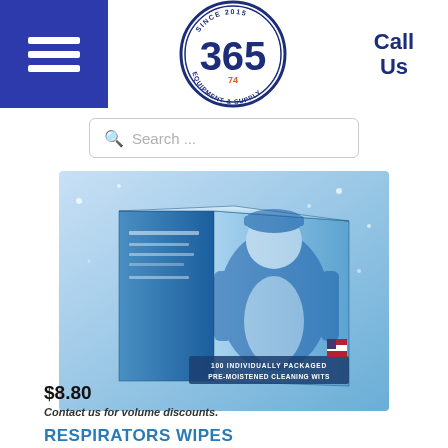[Figure (logo): 365 Equipment & Supply logo — circular badge with '365' in large navy/orange numerals, 'SINCE 2015' at top, 'EQUIPMENT & SUPPLY' at bottom]
Call Us
[Figure (screenshot): Search bar with magnifying glass icon and placeholder text 'Search ...']
[Figure (photo): Product photo of a blue box labeled '100 INDIVIDUALLY PACKAGED PRE-MOISTENED CLEANING WITS' with an illustrated worker figure on the packaging]
$8.80
Contact us for volume discounts.
RESPIRATORS WIPES